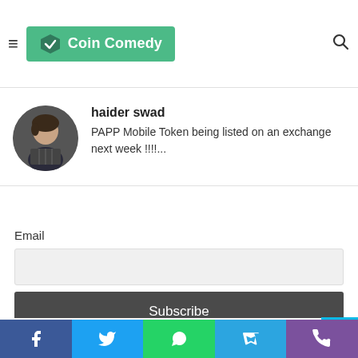Coin Comedy
haider swad
PAPP Mobile Token being listed on an exchange next week !!!!...
Email
Subscribe
DOGECOIN POSTS